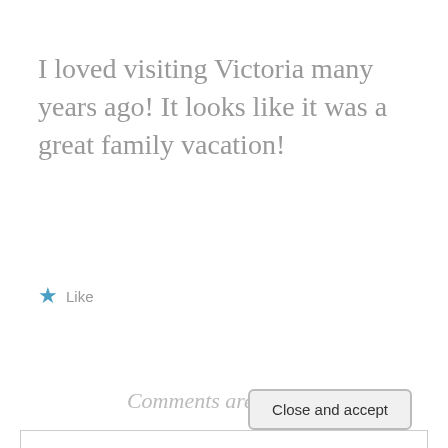I loved visiting Victoria many years ago! It looks like it was a great family vacation!
★ Like
Comments are closed.
Privacy & Cookies: This site uses cookies. By continuing to use this website, you agree to their use.
To find out more, including how to control cookies, see here: Cookie Policy
Close and accept